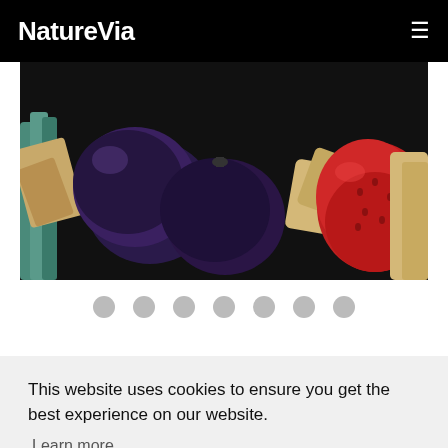NatureVia
[Figure (photo): Close-up photo of mixed fruits including blueberries, strawberries, and other colorful produce on a dark background]
[Figure (other): Seven grey navigation dots/carousel indicators]
This website uses cookies to ensure you get the best experience on our website.
Learn more